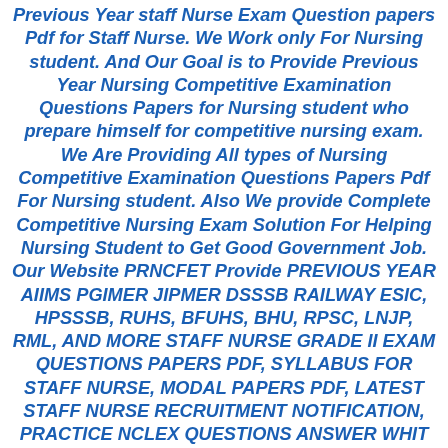Previous Year staff Nurse Exam Question papers Pdf for Staff Nurse. We Work only For Nursing student. And Our Goal is to Provide Previous Year Nursing Competitive Examination Questions Papers for Nursing student who prepare himself for competitive nursing exam. We Are Providing All types of Nursing Competitive Examination Questions Papers Pdf For Nursing student. Also We provide Complete Competitive Nursing Exam Solution For Helping Nursing Student to Get Good Government Job. Our Website PRNCFET Provide PREVIOUS YEAR AIIMS PGIMER JIPMER DSSSB RAILWAY ESIC, HPSSSB, RUHS, BFUHS, BHU, RPSC, LNJP, RML, AND MORE STAFF NURSE GRADE II EXAM QUESTIONS PAPERS PDF, SYLLABUS FOR STAFF NURSE, MODAL PAPERS PDF, LATEST STAFF NURSE RECRUITMENT NOTIFICATION, PRACTICE NCLEX QUESTIONS ANSWER WHIT RATIONALES, IMPORTANT QUESTIONS PAPERS, RESULTS, NURSING MCQ QUIZ, APP, AND MANY MORE ABOUT NURSING COMPETITIVE EXAMS.